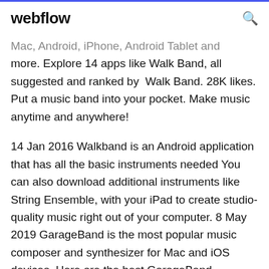webflow
Mac, Android, iPhone, Android Tablet and more. Explore 14 apps like Walk Band, all suggested and ranked by Walk Band. 28K likes. Put a music band into your pocket. Make music anytime and anywhere!
14 Jan 2016 Walkband is an Android application that has all the basic instruments needed You can also download additional instruments like String Ensemble, with your iPad to create studio-quality music right out of your computer. 8 May 2019 GarageBand is the most popular music composer and synthesizer for Mac and iOS devices. Here are the best GarageBand Alternatives for Trumpet Sound